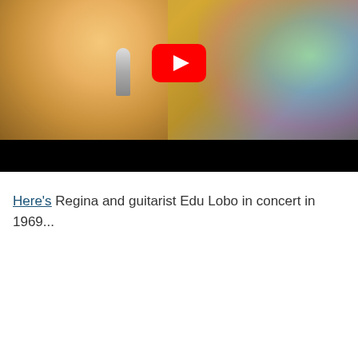[Figure (screenshot): YouTube video thumbnail showing a performer in a gold sequin outfit holding a microphone, with a YouTube play button overlay and black letterbox bar at bottom]
Here's Regina and guitarist Edu Lobo in concert in 1969...
[Figure (screenshot): YouTube video embed showing 'Elis Regina And Edu Lobo in concert 1969' with teal avatar showing T, three-dot menu, and video preview of performer]